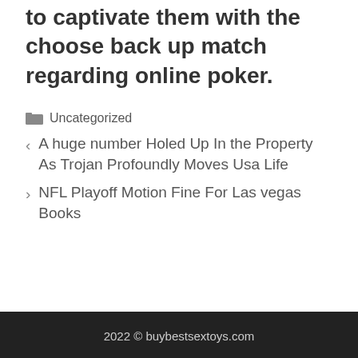to captivate them with the choose back up match regarding online poker.
Categories: Uncategorized
A huge number Holed Up In the Property As Trojan Profoundly Moves Usa Life
NFL Playoff Motion Fine For Las vegas Books
2022 © buybestsextoys.com